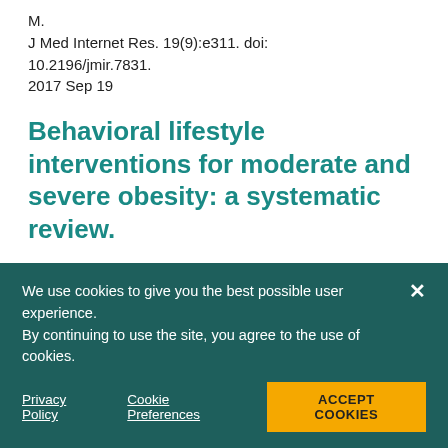M.
J Med Internet Res. 19(9):e311. doi: 10.2196/jmir.7831.
2017 Sep 19
Behavioral lifestyle interventions for moderate and severe obesity: a systematic review.
Lv N, Azar KMJ, Rosas LG, Wulfovich S, Xiao L, Ma J.
Prev Med. pii: S0091-7435(17)30142-1. doi: 10.1016/j.ypmed.2017.04.022. [Epub ahead of print]
2017 Apr 24
We use cookies to give you the best possible user experience. By continuing to use the site, you agree to the use of cookies.

Privacy Policy   Cookie Preferences   ACCEPT COOKIES